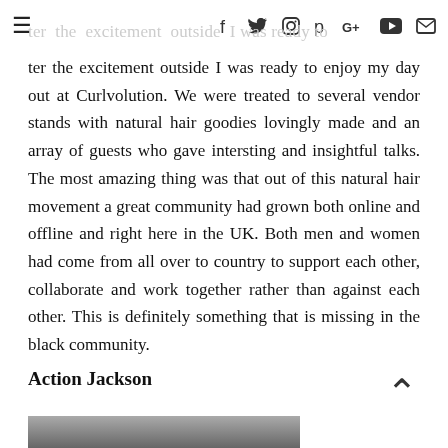☰  f  𝕥  📷  𝗽  G+  ▶  ✉
ter the excitement outside I was ready to enjoy my day out at Curlvolution. We were treated to several vendor stands with natural hair goodies lovingly made and an array of guests who gave intersting and insightful talks. The most amazing thing was that out of this natural hair movement a great community had grown both online and offline and right here in the UK. Both men and women had come from all over to country to support each other, collaborate and work together rather than against each other. This is definitely something that is missing in the black community.
Action Jackson
[Figure (photo): Partial view of a photo at the bottom of the page, showing what appears to be a person or scene, cropped]